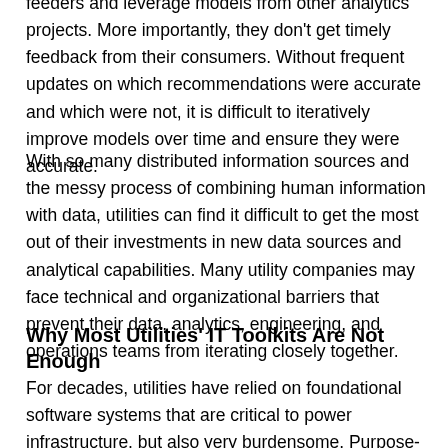feeders and leverage models from other analytics projects. More importantly, they don't get timely feedback from their consumers. Without frequent updates on which recommendations were accurate and which were not, it is difficult to iteratively improve models over time and ensure they were accurate.
With so many distributed information sources and the messy process of combining human information with data, utilities can find it difficult to get the most out of their investments in new data sources and analytical capabilities. Many utility companies may face technical and organizational barriers that prevent their data, analytics, engineering, and operations teams from iterating closely together.
Why Most Utilities' IT Toolkits Are Not Enough
For decades, utilities have relied on foundational software systems that are critical to power infrastructure, but also very burdensome. Purpose-built on-premises systems, such as DMS,